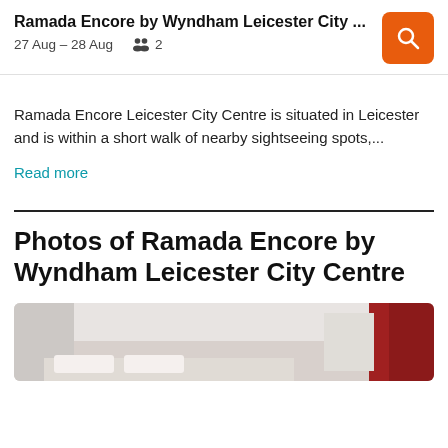Ramada Encore by Wyndham Leicester City ... | 27 Aug – 28 Aug  2
Ramada Encore Leicester City Centre is situated in Leicester and is within a short walk of nearby sightseeing spots,...
Read more
Photos of Ramada Encore by Wyndham Leicester City Centre
[Figure (photo): Interior photo of a hotel room at Ramada Encore by Wyndham Leicester City Centre, showing a bed with red curtains and white ceiling.]